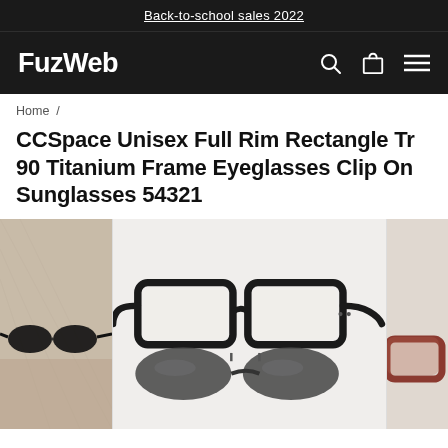Back-to-school sales 2022
FuzWeb
Home /
CCSpace Unisex Full Rim Rectangle Tr 90 Titanium Frame Eyeglasses Clip On Sunglasses 54321
[Figure (photo): Product images showing black rectangular frame eyeglasses with clip-on sunglasses attachment. Left side shows a lifestyle photo, center shows the product on white background, right side shows a partial thumbnail.]